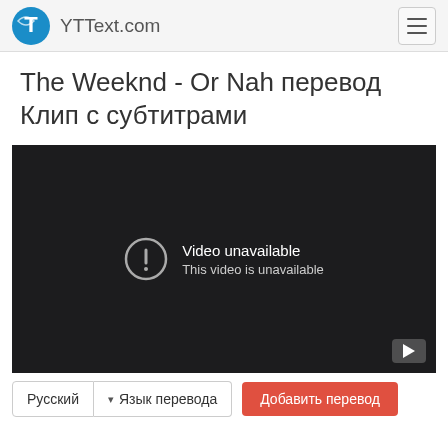YTText.com
The Weeknd - Or Nah перевод Клип с субтитрами
[Figure (screenshot): Embedded video player showing 'Video unavailable. This video is unavailable.' message with a warning icon and a YouTube button in the bottom right corner.]
Русский  ▾ Язык перевода  Добавить перевод